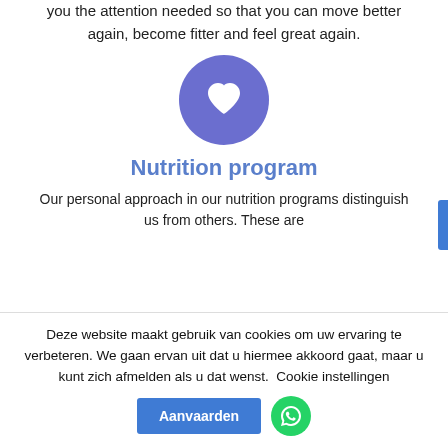you the attention needed so that you can move better again, become fitter and feel great again.
[Figure (illustration): Purple/blue circle with a white heart icon in the center]
Nutrition program
Our personal approach in our nutrition programs distinguish us from others. These are
Deze website maakt gebruik van cookies om uw ervaring te verbeteren. We gaan ervan uit dat u hiermee akkoord gaat, maar u kunt zich afmelden als u dat wenst.  Cookie instellingen
Aanvaarden